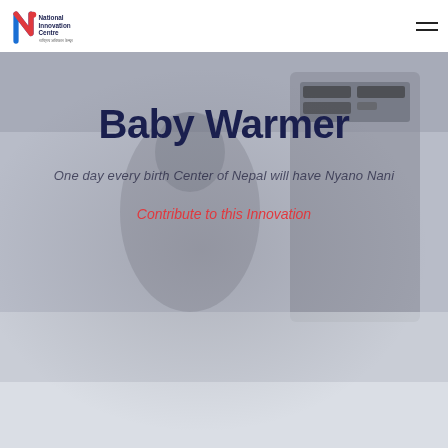[Figure (logo): National Innovation Centre logo with stylized N in red and blue, text 'National Innovation Centre' and Nepali script below]
[Figure (photo): Background photo of a person (healthcare worker) operating a baby warmer medical device, shown in muted gray tones]
Baby Warmer
One day every birth Center of Nepal will have Nyano Nani
Contribute to this Innovation